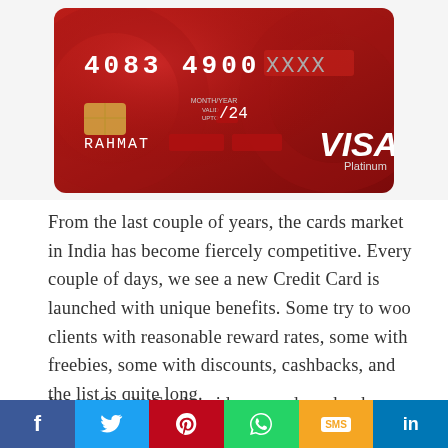[Figure (photo): A red VISA Platinum credit card showing partial card number 4083 4900, valid upto XX/24, cardholder name RAHMAT (partially blurred)]
From the last couple of years, the cards market in India has become fiercely competitive. Every couple of days, we see a new Credit Card is launched with unique benefits. Some try to woo clients with reasonable reward rates, some with freebies, some with discounts, cashbacks, and the list is quite long.
Leave Credit Cards aside, nowadays, banks are even issuing Debit Cards with plentiful benefits and features. Take for example, ICICI's Coral Debit Card, it gives you perks like Airport Lounge Access, free movie tickets, etc. The point is that the DCs are steadily and slowing trying to come at par
f  twitter  pinterest  whatsapp  SMS  in